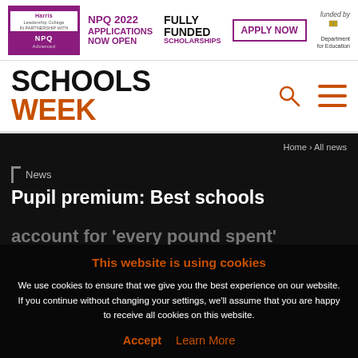[Figure (logo): Harris Leadership College NPQ 2022 banner advertisement with 'FULLY FUNDED SCHOLARSHIPS', 'APPLY NOW' button, and 'funded by Department for Education' branding]
[Figure (logo): Schools Week logo with SCHOOLS in black bold and WEEK in orange bold, plus search and hamburger menu icons]
Home › All news
News
Pupil premium: Best schools account for 'every pound spent'
This website is using cookies
We use cookies to ensure that we give you the best experience on our website. If you continue without changing your settings, we'll assume that you are happy to receive all cookies on this website.
Accept   Learn More